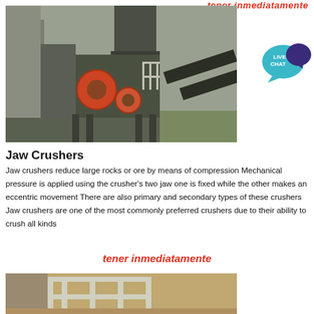tener inmediatamente
[Figure (photo): Industrial jaw crusher machine on a steel platform with conveyors and a tower structure]
[Figure (infographic): Live Chat button — teal speech bubble with white text LIVE CHAT]
Jaw Crushers
Jaw crushers reduce large rocks or ore by means of compression Mechanical pressure is applied using the crusher's two jaw one is fixed while the other makes an eccentric movement There are also primary and secondary types of these crushers Jaw crushers are one of the most commonly preferred crushers due to their ability to crush all kinds
tener inmediatamente
[Figure (photo): Industrial metal frame or structural platform, outdoor setting]